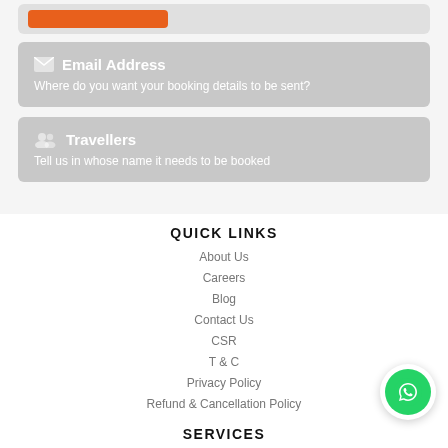[Figure (screenshot): Partial view of a card with orange button at top]
Email Address
Where do you want your booking details to be sent?
Travellers
Tell us in whose name it needs to be booked
QUICK LINKS
About Us
Careers
Blog
Contact Us
CSR
T & C
Privacy Policy
Refund & Cancellation Policy
SERVICES
Plan Your Trip
[Figure (logo): WhatsApp button icon in green circle]